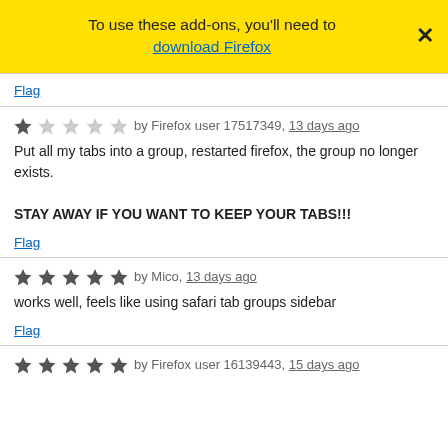To use these add-ons, you'll need to download Firefox
Flag
★☆☆☆☆ by Firefox user 17517349, 13 days ago
Put all my tabs into a group, restarted firefox, the group no longer exists.

STAY AWAY IF YOU WANT TO KEEP YOUR TABS!!!
Flag
★★★★★ by Mico, 13 days ago
works well, feels like using safari tab groups sidebar
Flag
★★★★★ by Firefox user 16139443, 15 days ago